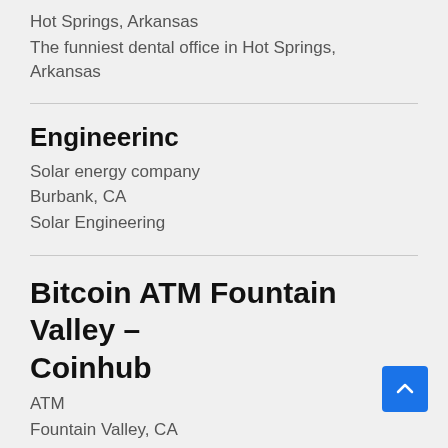Hot Springs, Arkansas
The funniest dental office in Hot Springs, Arkansas
Engineerinc
Solar energy company
Burbank, CA
Solar Engineering
Bitcoin ATM Fountain Valley – Coinhub
ATM
Fountain Valley, CA
Coinhub Bitcoin ATM in Fountain Valley